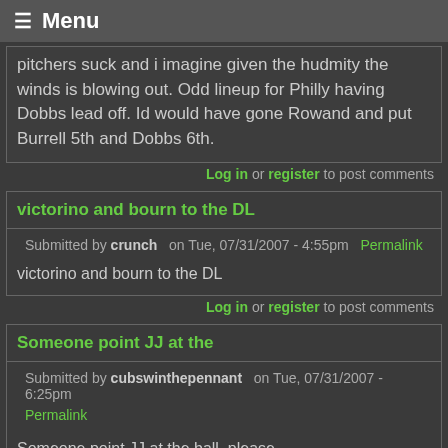☰ Menu
pitchers suck and i imagine given the hudmity the winds is blowing out. Odd lineup for Philly having Dobbs lead off. Id would have gone Rowand and put Burrell 5th and Dobbs 6th.
Log in or register to post comments
victorino and bourn to the DL
Submitted by crunch on Tue, 07/31/2007 - 4:55pm Permalink
victorino and bourn to the DL
Log in or register to post comments
Someone point JJ at the
Submitted by cubswinthepennant on Tue, 07/31/2007 - 6:25pm Permalink
Someone point JJ at the ball, please.
Log in or register to post comments
Someone point JJ at the
Submitted by dave on Tue, 07/31/2007 - 6:38pm Permalink
Someone point JJ at the ball, please. He lost the ball in the